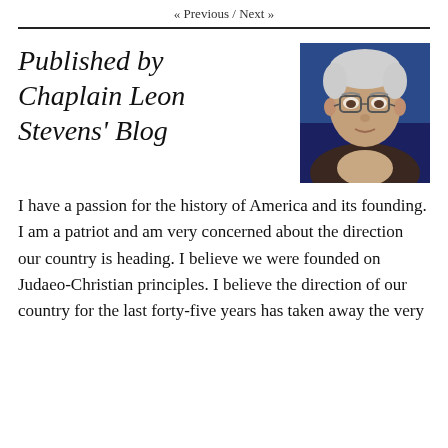« Previous / Next »
Published by Chaplain Leon Stevens' Blog
[Figure (photo): Portrait photo of an elderly man with glasses, short white/grey hair, against a dark blue background.]
I have a passion for the history of America and its founding. I am a patriot and am very concerned about the direction our country is heading. I believe we were founded on Judaeo-Christian principles. I believe the direction of our country for the last forty-five years has taken away the very